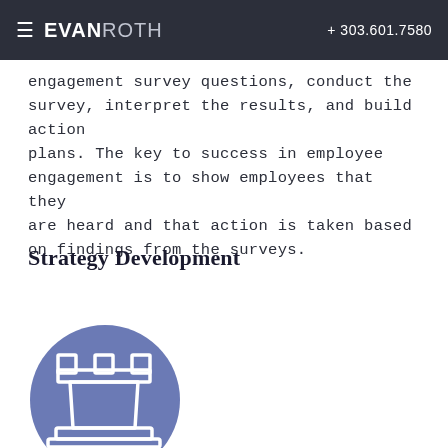≡ EVANROTH  + 303.601.7580
engagement survey questions, conduct the survey, interpret the results, and build action plans. The key to success in employee engagement is to show employees that they are heard and that action is taken based on findings from the surveys.
Strategy Development
[Figure (illustration): A purple/slate-blue circular icon containing a white chess rook piece outline]